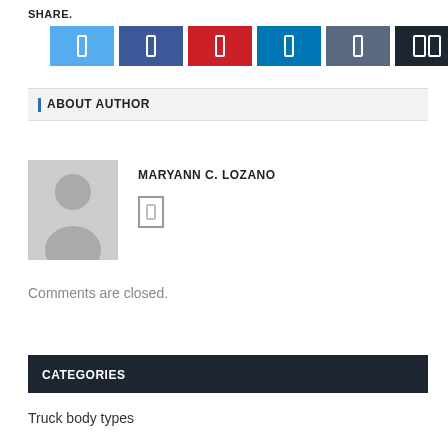SHARE.
[Figure (other): Social share buttons: Twitter (light blue), Facebook (dark blue), Pinterest (red), LinkedIn (blue), dark gray button, black button with icon]
ABOUT AUTHOR
[Figure (photo): Generic gray avatar/silhouette placeholder image for author Maryann C. Lozano]
MARYANN C. LOZANO
Comments are closed.
CATEGORIES
Truck body types